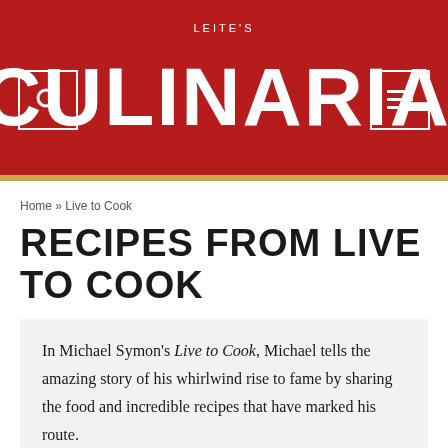LEITE'S CULINARIA
Home » Live to Cook
RECIPES FROM LIVE TO COOK
In Michael Symon's Live to Cook, Michael tells the amazing story of his whirlwind rise to fame by sharing the food and incredible recipes that have marked his route.
Part of Michael's irresistible allure on the Food Network comes from how much fun he has in the kitchen. To